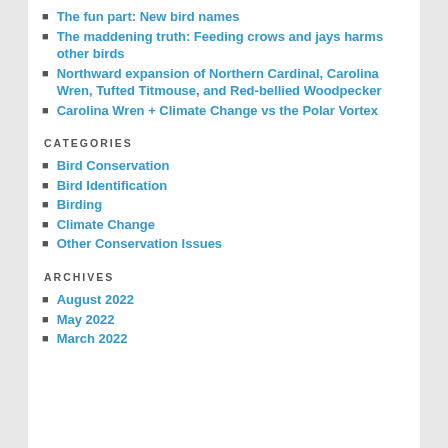The fun part: New bird names
The maddening truth: Feeding crows and jays harms other birds
Northward expansion of Northern Cardinal, Carolina Wren, Tufted Titmouse, and Red-bellied Woodpecker
Carolina Wren + Climate Change vs the Polar Vortex
CATEGORIES
Bird Conservation
Bird Identification
Birding
Climate Change
Other Conservation Issues
ARCHIVES
August 2022
May 2022
March 2022